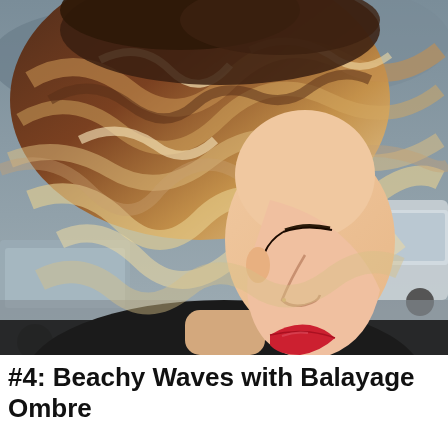[Figure (photo): Side-profile photo of a young woman with a short wavy bob haircut featuring balayage ombre coloring — dark roots transitioning to warm blonde and caramel highlights. She is wearing red lipstick and a dark jacket. Background shows an overcast sky and a silver van.]
#4: Beachy Waves with Balayage Ombre